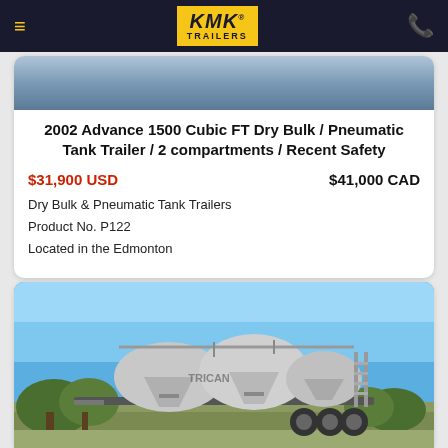KMK TRAILERS
2002 Advance 1500 Cubic FT Dry Bulk / Pneumatic Tank Trailer / 2 compartments / Recent Safety
$31,900 USD    $41,000 CAD
Dry Bulk & Pneumatic Tank Trailers
Product No. P122
Located in the Edmonton
[Figure (photo): Photo of a silver/aluminum dry bulk pneumatic tank trailer (Trican branded) with multiple cone-shaped hoppers, parked outdoors under a blue sky with trees in background]